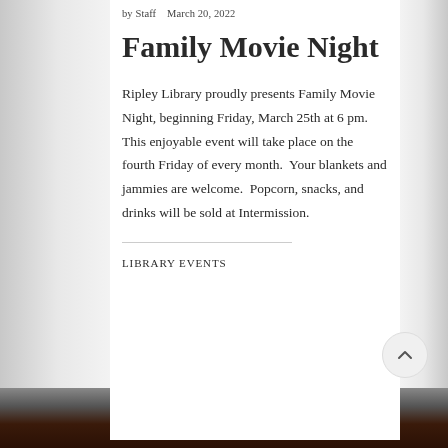by Staff    March 20, 2022
Family Movie Night
Ripley Library proudly presents Family Movie Night, beginning Friday, March 25th at 6 pm. This enjoyable event will take place on the fourth Friday of every month.  Your blankets and jammies are welcome.  Popcorn, snacks, and drinks will be sold at Intermission.
LIBRARY EVENTS
[Figure (photo): Dark partial photo of a brick wall background at the bottom of the page]